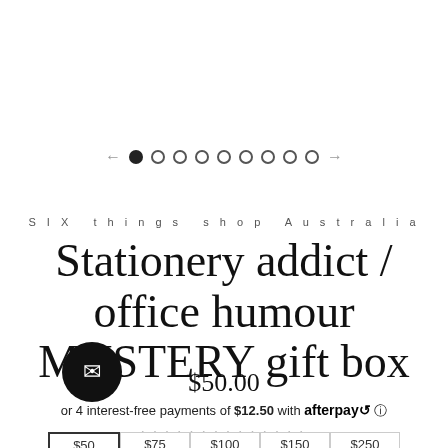[Figure (other): Carousel navigation with left arrow, one filled dot and eight empty circle dots, and right arrow]
SIX things shop Australia
Stationery addict / office humour MYSTERY gift box
$50.00
or 4 interest-free payments of $12.50 with afterpay
$50  $75  $100  $150  $250